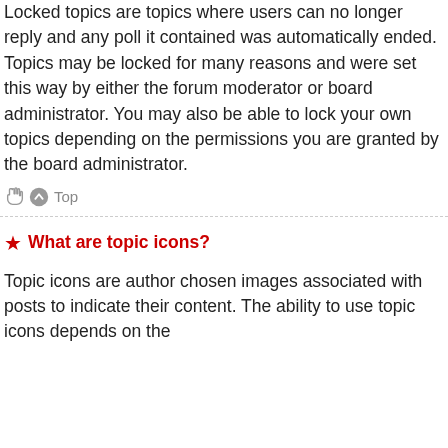Locked topics are topics where users can no longer reply and any poll it contained was automatically ended. Topics may be locked for many reasons and were set this way by either the forum moderator or board administrator. You may also be able to lock your own topics depending on the permissions you are granted by the board administrator.
Top
What are topic icons?
Topic icons are author chosen images associated with posts to indicate their content. The ability to use topic icons depends on the